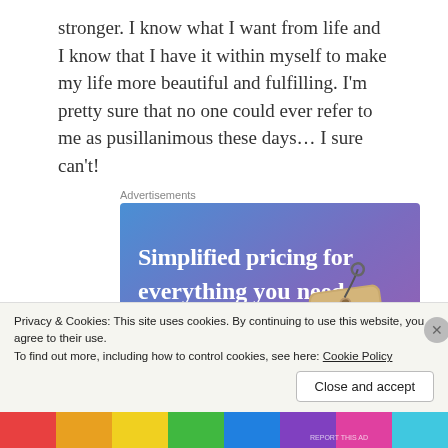stronger. I know what I want from life and I know that I have it within myself to make my life more beautiful and fulfilling. I'm pretty sure that no one could ever refer to me as pusillanimous these days… I sure can't!
Advertisements
[Figure (infographic): Advertisement banner with blue-to-purple gradient background, white bold text reading 'Simplified pricing for everything you need.', a pink 'Build Your Website' button, and a tan/beige price tag illustration on the right.]
Privacy & Cookies: This site uses cookies. By continuing to use this website, you agree to their use.
To find out more, including how to control cookies, see here: Cookie Policy
Close and accept